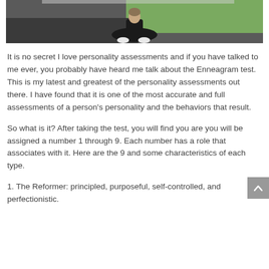[Figure (photo): Partial photo of a person sitting on a gym floor wearing black athletic clothes and white shoes, with green turf visible in the background.]
It is no secret I love personality assessments and if you have talked to me ever, you probably have heard me talk about the Enneagram test. This is my latest and greatest of the personality assessments out there. I have found that it is one of the most accurate and full assessments of a person’s personality and the behaviors that result.
So what is it? After taking the test, you will find you are you will be assigned a number 1 through 9. Each number has a role that associates with it. Here are the 9 and some characteristics of each type.
1. The Reformer: principled, purposeful, self-controlled, and perfectionistic.